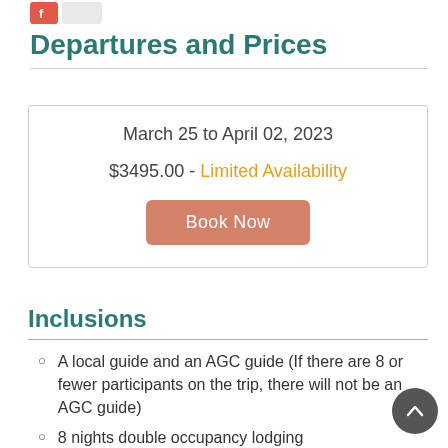Departures and Prices
March 25 to April 02, 2023
$3495.00 - Limited Availability
Book Now
Inclusions
A local guide and an AGC guide (If there are 8 or fewer participants on the trip, there will not be an AGC guide)
8 nights double occupancy lodging